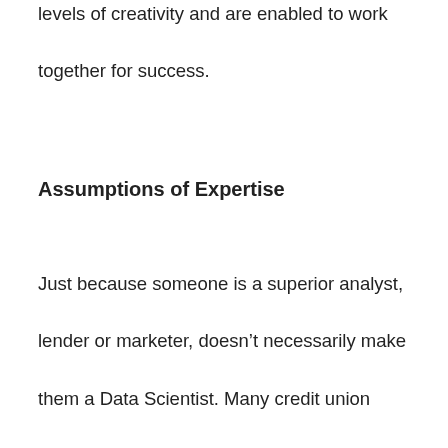levels of creativity and are enabled to work together for success.
Assumptions of Expertise
Just because someone is a superior analyst, lender or marketer, doesn't necessarily make them a Data Scientist. Many credit union organizations rely on their departmental